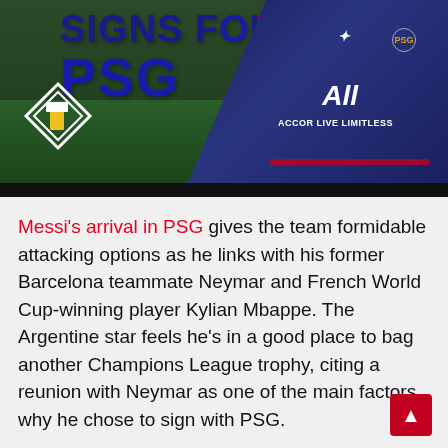[Figure (photo): A PSG soccer player wearing the dark blue PSG jersey with 'All ACCOR LIVE LIMITLESS' branding, with text overlay reading 'SIGNS FOR PSG' in large blue letters and a red badge. A diamond-shaped logo is in the lower left of the image.]
Messi's arrival in PSG gives the team formidable attacking options as he links with his former Barcelona teammate Neymar and French World Cup-winning player Kylian Mbappe. The Argentine star feels he's in a good place to bag another Champions League trophy, citing a reunion with Neymar as one of the main factors why he chose to sign with PSG.
The 34-year-old star was speaking during his introductory new conference held at the Parc des